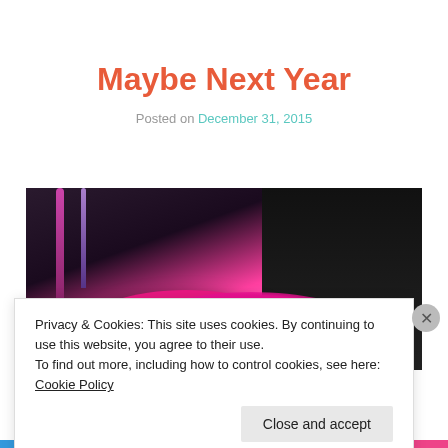Maybe Next Year
Posted on December 31, 2015
[Figure (photo): A pink round tin with white star patterns, surrounded by makeup brushes and dark background]
Privacy & Cookies: This site uses cookies. By continuing to use this website, you agree to their use.
To find out more, including how to control cookies, see here: Cookie Policy
Close and accept